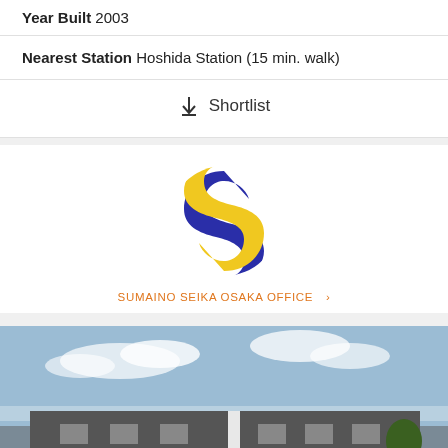Year Built 2003
Nearest Station Hoshida Station (15 min. walk)
↓ Shortlist
[Figure (logo): Sumaino Seika logo: circular emblem with intertwined blue and yellow S-shapes]
SUMAINO SEIKA OSAKA OFFICE
[Figure (photo): Exterior photo of a two-story apartment building with dark grey walls and white accents, multiple unit doors visible, blue sky background]